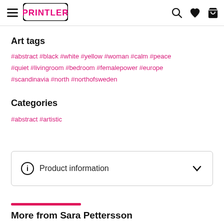Printler [logo] [hamburger menu] [search] [wishlist] [cart]
Art tags
#abstract #black #white #yellow #woman #calm #peace #quiet #livingroom #bedroom #femalepower #europe #scandinavia #north #northofsweden
Categories
#abstract #artistic
Product information
More from Sara Pettersson